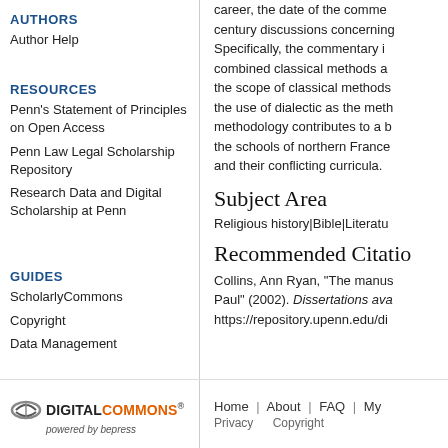AUTHORS
Author Help
RESOURCES
Penn's Statement of Principles on Open Access
Penn Law Legal Scholarship Repository
Research Data and Digital Scholarship at Penn
GUIDES
ScholarlyCommons
Copyright
Data Management
career, the date of the comme... century discussions concerning... Specifically, the commentary i... combined classical methods a... the scope of classical methods... the use of dialectic as the meth... methodology contributes to a b... the schools of northern France... and their conflicting curricula.
Subject Area
Religious history|Bible|Literatu...
Recommended Citatio...
Collins, Ann Ryan, "The manus... Paul" (2002). Dissertations ava... https://repository.upenn.edu/di...
[Figure (logo): Digital Commons powered by bepress logo]
Home | About | FAQ | My... Privacy   Copyright